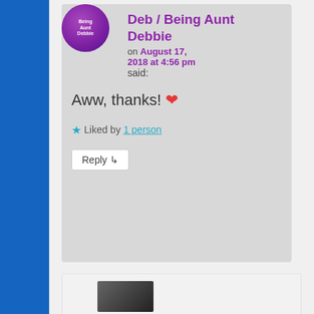[Figure (illustration): Purple circular avatar with text 'Being Aunt Debbie' in white]
Deb / Being Aunt Debbie
on August 17, 2018 at 4:56 pm
said:
Aww, thanks! ❤
★ Liked by 1 person
Reply ↴
[Figure (photo): Black and white photo thumbnail, partially visible at bottom of page]